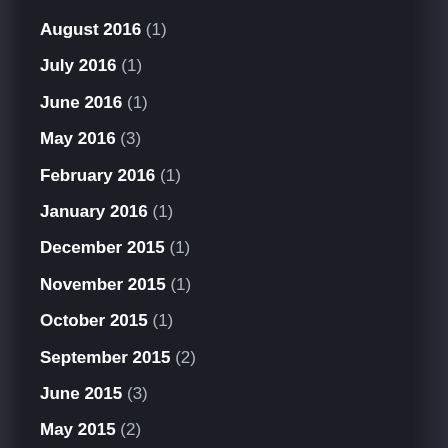August 2016 (1)
July 2016 (1)
June 2016 (1)
May 2016 (3)
February 2016 (1)
January 2016 (1)
December 2015 (1)
November 2015 (1)
October 2015 (1)
September 2015 (2)
June 2015 (3)
May 2015 (2)
April 2015 (3)
March 2015 (1)
February 2015 (5)